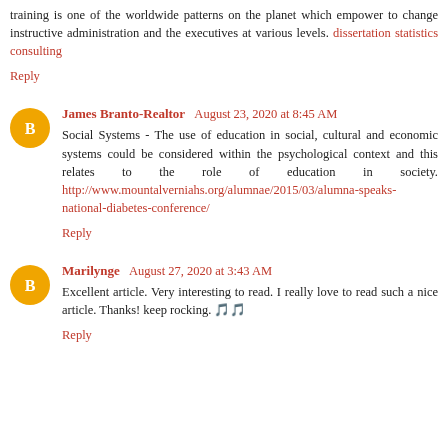training is one of the worldwide patterns on the planet which empower to change instructive administration and the executives at various levels. dissertation statistics consulting
Reply
James Branto-Realtor  August 23, 2020 at 8:45 AM
Social Systems - The use of education in social, cultural and economic systems could be considered within the psychological context and this relates to the role of education in society. http://www.mountalverniahs.org/alumnae/2015/03/alumna-speaks-national-diabetes-conference/
Reply
Marilynge  August 27, 2020 at 3:43 AM
Excellent article. Very interesting to read. I really love to read such a nice article. Thanks! keep rocking. 🎵🎵
Reply